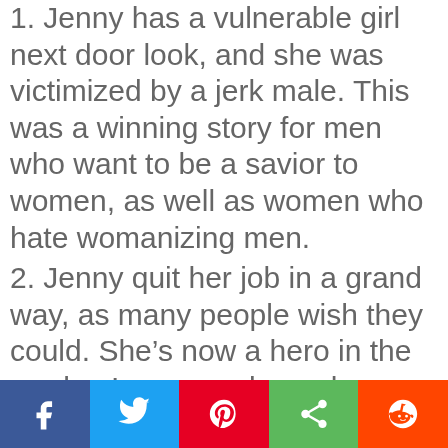1. Jenny has a vulnerable girl next door look, and she was victimized by a jerk male. This was a winning story for men who want to be a savior to women, as well as women who hate womanizing men.
2. Jenny quit her job in a grand way, as many people wish they could. She's now a hero in the readers' eyes, and people are sharing this story when the boss isn't looking.
Privacy & Cookies: This site uses cookies. By continuing to use this website, you agree to their use.
To find out more, including how to control cookies, see here: Cookie Policy
Close and accept